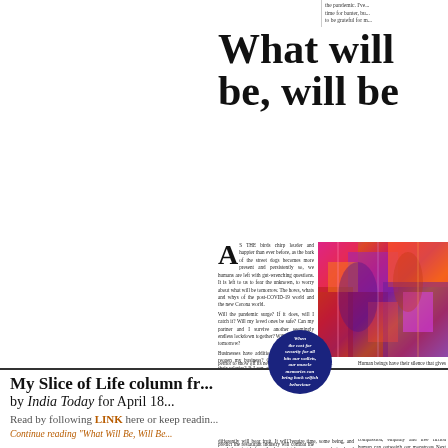...the pandemic. I've... time for banter, bu... to be grateful for m...
What will be, will be
[Figure (illustration): Colorful abstract painting with vivid pink, red, purple and orange tones, showing tree-like forms and silhouettes]
AS THE birds chirp louder and happier than ever before, as the bark of the street dogs becomes more present and persistently so, we humans are left with gut-wrenching questions. It is left to us to fear the unknown, to worry about what will be tomorrow. The hows, whats and whys of the post-COVID-19 world and the new Corona world. Will the pandemic surge? If it does, will I catch it? Will my loved ones be safe? Can my partner and I survive another seemingly endless lockdown together? Will we live to see tomorrow? Businesses have additional questions. Can I reopen my business? Can I pay employees their salaries? If I can, will it function exactly the same way? Will my employees come back to work? Will customers come out in the same numbers? Will they expect exactly what they loved before? Businesses need to strategise for a future that is as unclear to predict. Many new practices will never to be reversed. A leap of faith and deep pockets, thinking beyond current pain are the call of the hour. No astrologer can but predict the restaurant industry will combat the bear by replacing Insta-worthy pics of food and drinks with Insta-ugly photos showcasing new hygiene and cleaning standards and procedures. Each doing a heavier job than its com-petitor to show off its new skills around clean measures. Many of the practices that made businesses tick will remain relevant. Restaurants that survive this era of lockdown blessed with visionary leaders will open, almost like nothing ever looked. Opening to the clank of their patrons rediscovering their comfort foods and favourite cocktails, wines and spirits.
And then, for the betterment of our genuine fraternity that we share across the planet, our human collective will strive to see life as we lived prior — perhaps day-change its ways to reflect what we're leaned in our Corona reflections. Books warn about what to do differently will bear fruit. It will require time, some being, and much learning before the harvest takes us to a new better-level playing field. But that might be too utopian and grand a thought.
Human beings have their share, their silence gives space and better memories in our muscles than is our mind's. Being creatures of habit, we have also old Corona comfortable, laughing and charming. This pandemic and the lockdown are almost about minute by people forgotten. We will be back to business as usual. It's too bad that capitalism will easily flourish. Greed will trump humanity, compassion, empathy and free fiction human can outweigh our monstrous... Next to be technologies, in our streets, at our restaurants and other public places. When the cost for security for all hits our wallets, our muscle memories can bring back selfish old and even more costly behaviour again. I hope I am wrong. I am reading and reflecting, writing and imagining, and most of all going along, away and moving for a tomorrow with new beginnings. But I am also a realist. After 35 years of being in this industry, I am afraid that even COVID-19 is no match for capitalism.
My Slice of Life column fr... by India Today for April 18...
Read by following LINK here or keep readin...
Continue reading "What Will Be, Will Be...